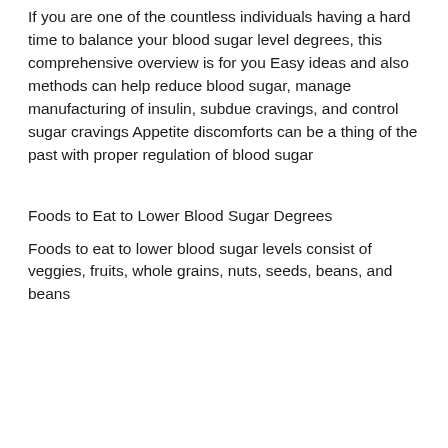If you are one of the countless individuals having a hard time to balance your blood sugar level degrees, this comprehensive overview is for you Easy ideas and also methods can help reduce blood sugar, manage manufacturing of insulin, subdue cravings, and control sugar cravings Appetite discomforts can be a thing of the past with proper regulation of blood sugar
Foods to Eat to Lower Blood Sugar Degrees
Foods to eat to lower blood sugar levels consist of veggies, fruits, whole grains, nuts, seeds, beans, and beans